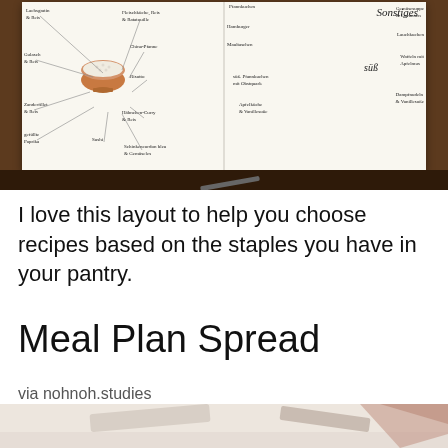[Figure (photo): An open bullet journal / notebook on a wooden table, showing a hand-drawn mind-map meal planning spread with a bowl illustration in the center of the left page, with dish ideas radiating out (e.g. Lachsgratin & Reis, Gulasch & Reis, Zanderfillet & Reis, Hähnchen-Curry & Reis, Schinkencordon bleu & Gemüseles, Sushi, gefüllte Paprika, Risotto, China-Pfanne, Fleischküche Reis & Ratatouille), and the right page showing 'Sonstiges' and 'süß' sections with further dish ideas.]
I love this layout to help you choose recipes based on the staples you have in your pantry.
Meal Plan Spread
via nohnoh.studies
[Figure (photo): Bottom strip of a second photo showing a light-colored surface (possibly a table or paper) with some decorative item partially visible.]